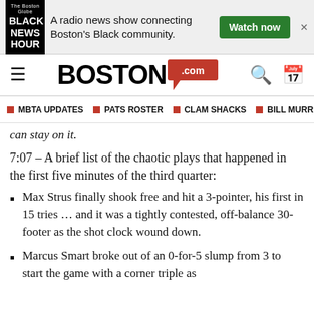[Figure (other): Advertisement banner for Black News Hour: 'A radio news show connecting Boston's Black community.' with a Watch now button]
BOSTON.com
MBTA UPDATES | PATS ROSTER | CLAM SHACKS | BILL MURR
can stay on it.
7:07 – A brief list of the chaotic plays that happened in the first five minutes of the third quarter:
Max Strus finally shook free and hit a 3-pointer, his first in 15 tries … and it was a tightly contested, off-balance 30-footer as the shot clock wound down.
Marcus Smart broke out of an 0-for-5 slump from 3 to start the game with a corner triple as